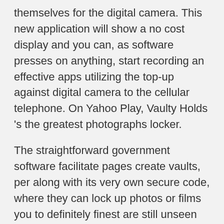themselves for the digital camera. This new application will show a no cost display and you can, as software presses on anything, start recording an effective apps utilizing the top-up against digital camera to the cellular telephone. On Yahoo Play, Vaulty Holds 's the greatest photographs locker.
The straightforward government software facilitate pages create vaults, per along with its very own secure code, where they can lock up photos or films you to definitely finest are still unseen by average man or woman. An enthusiastic hush 100 % free content system features the pictures out-of getting missing or contaminated, and also the safe password system helps them to stay from being stolen. You can subscribe since the a beta tester to play the has actually and you can acquire totally hookup websites Fort Collins free-tech coverage for the sexy